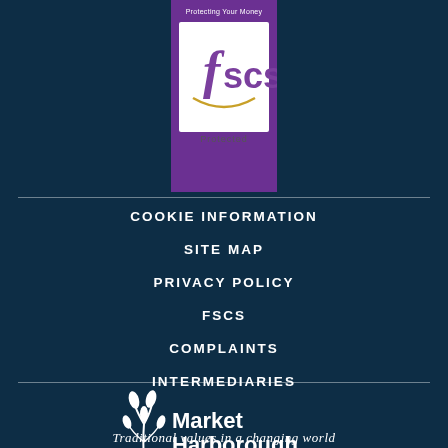[Figure (logo): FSCS Protected logo — purple background with white FSCS text in a shield/badge, 'Protected' text below, and 'Protecting Your Money' text above]
COOKIE INFORMATION
SITE MAP
PRIVACY POLICY
FSCS
COMPLAINTS
INTERMEDIARIES
[Figure (logo): Market Harborough Building Society logo — white wheat/grain stalk icon to the left of the text 'Market Harborough' in large white font, with 'BUILDING SOCIETY' in smaller spaced uppercase below]
Traditional values in a changing world